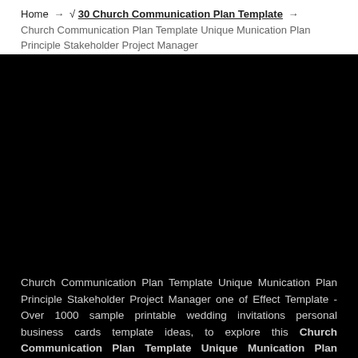Home → √ 30 Church Communication Plan Template → Church Communication Plan Template Unique Munication Plan Principle Stakeholder Project Manager
[Figure (other): Large black rectangular area occupying the center of the page, likely a placeholder for an image that failed to load.]
Church Communication Plan Template Unique Munication Plan Principle Stakeholder Project Manager one of Effect Template - Over 1000 sample printable wedding invitations personal business cards template ideas, to explore this Church Communication Plan Template Unique Munication Plan Principle Stakeholder Project Manager image you can browse by and. We hope your happy with this Church Communication Plan Template Unique Munication Plan